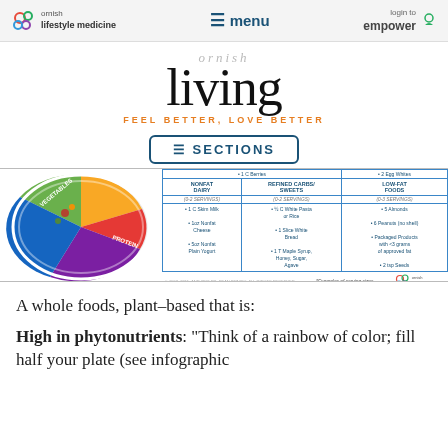ornish lifestyle medicine | menu | login to empower
[Figure (logo): Ornish Living logo with tagline FEEL BETTER, LOVE BETTER]
[Figure (infographic): Ornish food plate diagram alongside a food group table showing Nonfat Dairy (0-2 servings), Refined Carbs/Sweets (0-2 servings), Low-Fat Foods (0-3 servings) with example serving sizes]
A whole foods, plant-based that is:
High in phytonutrients: "Think of a rainbow of color; fill half your plate (see infographic...